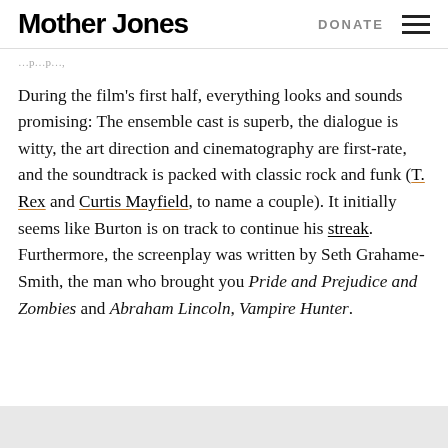Mother Jones   DONATE
During the film's first half, everything looks and sounds promising: The ensemble cast is superb, the dialogue is witty, the art direction and cinematography are first-rate, and the soundtrack is packed with classic rock and funk (T. Rex and Curtis Mayfield, to name a couple). It initially seems like Burton is on track to continue his streak. Furthermore, the screenplay was written by Seth Grahame-Smith, the man who brought you Pride and Prejudice and Zombies and Abraham Lincoln, Vampire Hunter.